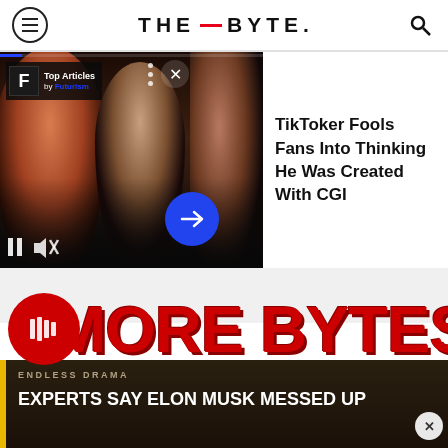THE BYTE.
[Figure (screenshot): Video player showing three people faces with Top Articles by Futurism badge, play/pause controls, mute button, and a blue arrow button]
TikToker Fools Fans Into Thinking He Was Created With CGI
MORE BYTES
ENDLESS DRAMA
EXPERTS SAY ELON MUSK MESSED UP